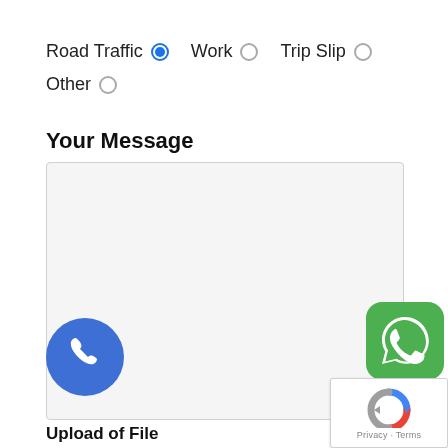Road Traffic (selected) Work Trip Slip Other
Your Message
[Figure (screenshot): Empty message text area input box with light grey background]
[Figure (illustration): Blue circular phone call button icon]
[Figure (logo): WhatsApp green icon with white phone handset]
[Figure (illustration): reCAPTCHA widget with Privacy and Terms links]
Upload of File